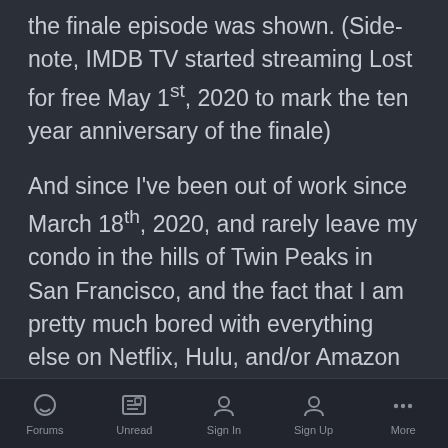the finale episode was shown. (Side-note, IMDB TV started streaming Lost for free May 1st, 2020 to mark the ten year anniversary of the finale)
And since I've been out of work since March 18th, 2020, and rarely leave my condo in the hills of Twin Peaks in San Francisco, and the fact that I am pretty much bored with everything else on Netflix, Hulu, and/or Amazon Prime, I contacted my friend and asked if I could borrow the first season of Lost to finally  see what the fuss is about.
You would have thought I asked him to be god-
Forums  Unread  Sign In  Sign Up  More